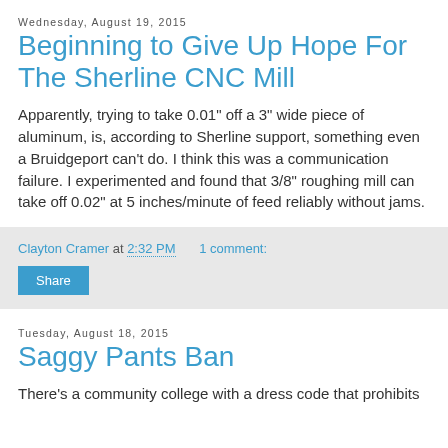Wednesday, August 19, 2015
Beginning to Give Up Hope For The Sherline CNC Mill
Apparently, trying to take 0.01" off a 3" wide piece of aluminum, is, according to Sherline support, something even a Bruidgeport can't do.  I think this was a communication failure.  I experimented and found that 3/8" roughing mill can take off 0.02" at 5 inches/minute of feed reliably without jams.
Clayton Cramer at 2:32 PM    1 comment:
Share
Tuesday, August 18, 2015
Saggy Pants Ban
There's a community college with a dress code that prohibits